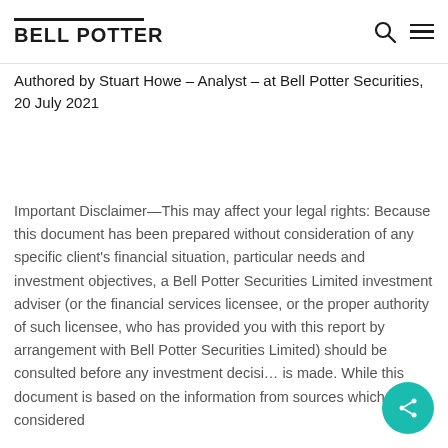BELL POTTER
Authored by Stuart Howe – Analyst – at Bell Potter Securities, 20 July 2021
Important Disclaimer—This may affect your legal rights: Because this document has been prepared without consideration of any specific client's financial situation, particular needs and investment objectives, a Bell Potter Securities Limited investment adviser (or the financial services licensee, or the proper authority of such licensee, who has provided you with this report by arrangement with Bell Potter Securities Limited) should be consulted before any investment decision is made. While this document is based on the information from sources which are considered